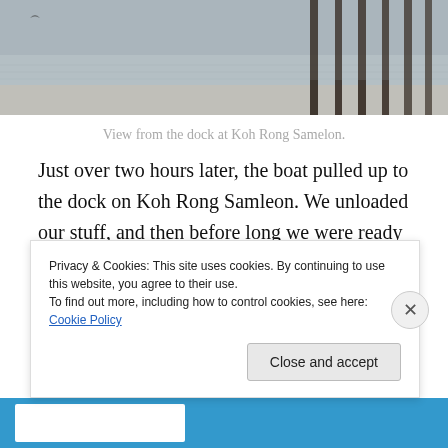[Figure (photo): Partial view of a dock over water at Koh Rong Samelon, showing wooden pier posts reflected in calm water, cropped at top of page]
View from the dock at Koh Rong Samelon.
Just over two hours later, the boat pulled up to the dock on Koh Rong Samleon. We unloaded our stuff, and then before long we were ready to head out again to go diving. The other three customers were doing their dives to complete their PADI Open Water Diver Certificate, so their schedule was going to be a little different. Since I was already a certified diver, all I had to do was gear up and
Privacy & Cookies: This site uses cookies. By continuing to use this website, you agree to their use.
To find out more, including how to control cookies, see here: Cookie Policy